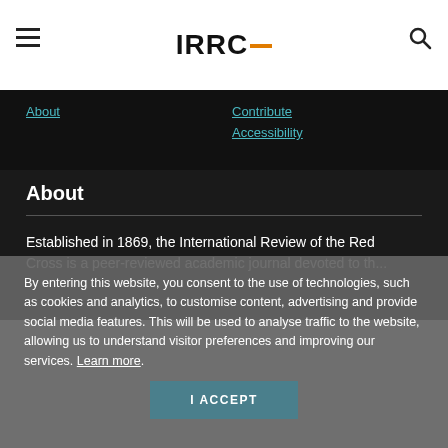IRRC_
About
Contribute
Accessibility
About
Established in 1869, the International Review of the Red Cross is a peer-reviewed academic journal devoted to the study and development of...
By entering this website, you consent to the use of technologies, such as cookies and analytics, to customise content, advertising and provide social media features. This will be used to analyse traffic to the website, allowing us to understand visitor preferences and improving our services. Learn more.
I ACCEPT